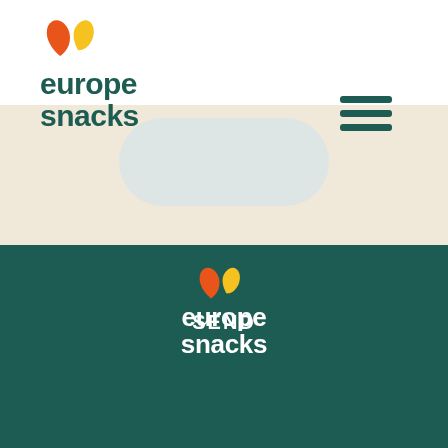[Figure (logo): Europe Snacks logo top left with orange and yellow leaf/heart icon above dark teal 'europe snacks' text]
[Figure (other): Hamburger menu icon with three dark teal horizontal bars, top right]
[Figure (other): SEND button in dark teal rounded rectangle on beige/cream background]
[Figure (logo): Europe Snacks logo centered in dark teal footer section with white text and orange/yellow icon]
[Figure (other): CONTACT US button with white outline rounded rectangle on dark teal background]